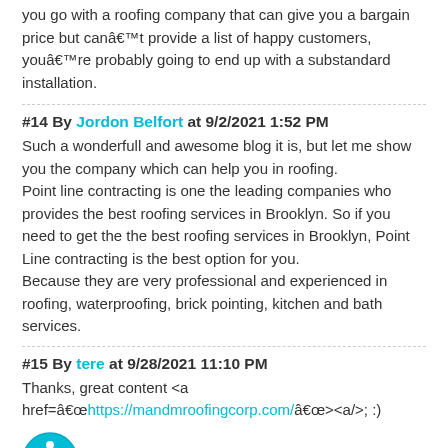you go with a roofing company that can give you a bargain price but canât provide a list of happy customers, youâre probably going to end up with a substandard installation.
#14 By Jordon Belfort at 9/2/2021 1:52 PM
Such a wonderfull and awesome blog it is, but let me show you the company which can help you in roofing.
Point line contracting is one the leading companies who provides the best roofing services in Brooklyn. So if you need to get the the best roofing services in Brooklyn, Point Line contracting is the best option for you.
Because they are very professional and experienced in roofing, waterproofing, brick pointing, kitchen and bath services.
#15 By tere at 9/28/2021 11:10 PM
Thanks, great content <a href=âhttps://mandmroofingcorp.com/â><a/>; :)
[Figure (illustration): Accessibility icon - circular teal badge with person in wheelchair symbol]
#16 By tere at 10/5/2021 10:52 PM